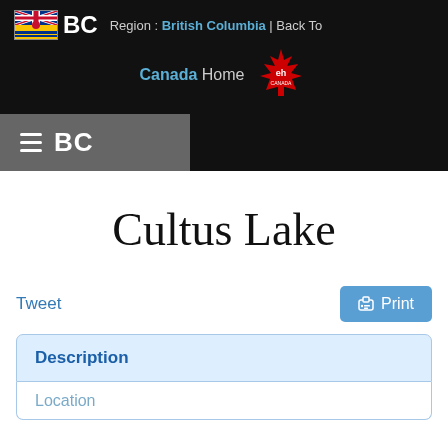[Figure (logo): British Columbia flag icon with 'BC' text and region navigation: 'Region : British Columbia | Back To']
[Figure (logo): Canada 'eh Canada' maple leaf logo]
Canada Home
[Figure (logo): BC navigation hamburger menu icon with 'BC' text on dark grey background]
Cultus Lake
Tweet
Print
Description
Location